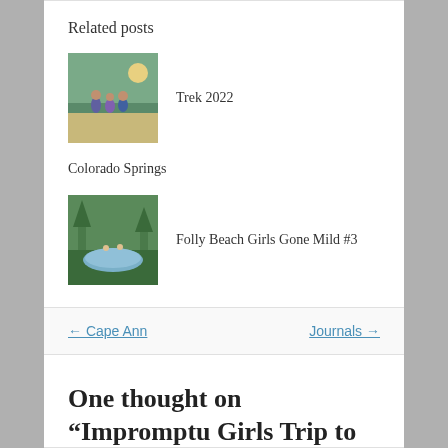Related posts
[Figure (photo): Thumbnail photo of group of people in desert landscape for Trek 2022 post]
Trek 2022
Colorado Springs
[Figure (photo): Thumbnail photo for Folly Beach Girls Gone Mild #3 post]
Folly Beach Girls Gone Mild #3
← Cape Ann
Journals →
One thought on “Impromptu Girls Trip to NYC”